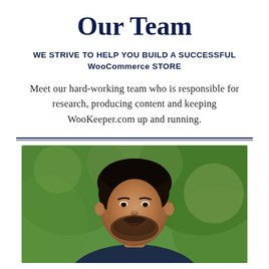Our Team
WE STRIVE TO HELP YOU BUILD A SUCCESSFUL WooCommerce STORE
Meet our hard-working team who is responsible for research, producing content and keeping WooKeeper.com up and running.
[Figure (photo): Portrait photo of a young man with dark hair and beard, smiling, with green trees in the background]